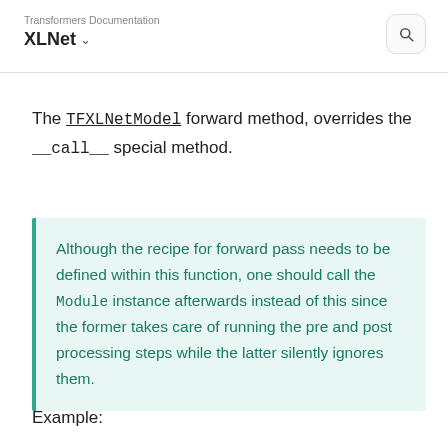Transformers Documentation
XLNet ∨
The TFXLNetModel forward method, overrides the __call__ special method.
Although the recipe for forward pass needs to be defined within this function, one should call the Module instance afterwards instead of this since the former takes care of running the pre and post processing steps while the latter silently ignores them.
Example: